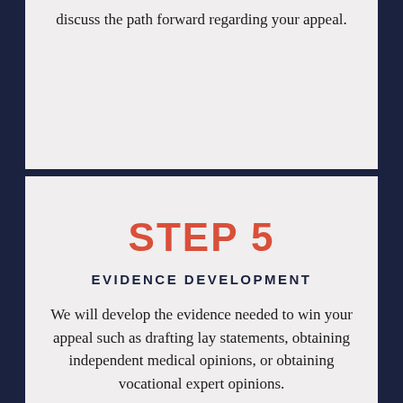discuss the path forward regarding your appeal.
STEP 5
EVIDENCE DEVELOPMENT
We will develop the evidence needed to win your appeal such as drafting lay statements, obtaining independent medical opinions, or obtaining vocational expert opinions.